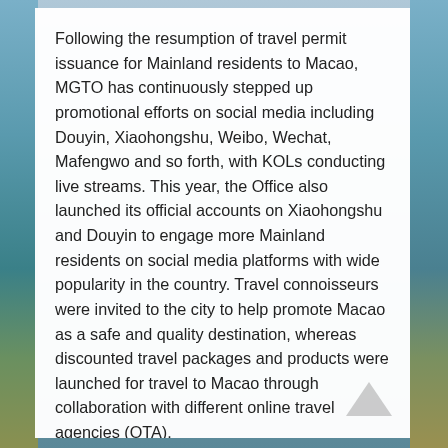Following the resumption of travel permit issuance for Mainland residents to Macao, MGTO has continuously stepped up promotional efforts on social media including Douyin, Xiaohongshu, Weibo, Wechat, Mafengwo and so forth, with KOLs conducting live streams. This year, the Office also launched its official accounts on Xiaohongshu and Douyin to engage more Mainland residents on social media platforms with wide popularity in the country. Travel connoisseurs were invited to the city to help promote Macao as a safe and quality destination, whereas discounted travel packages and products were launched for travel to Macao through collaboration with different online travel agencies (OTA).
To further raise the destination profile, MGTO has been pushing forward a diverse range of promotional initiatives including Beijing Macao Week, Tour Macao Carnival and “Macao Ready Go!” online platform. In